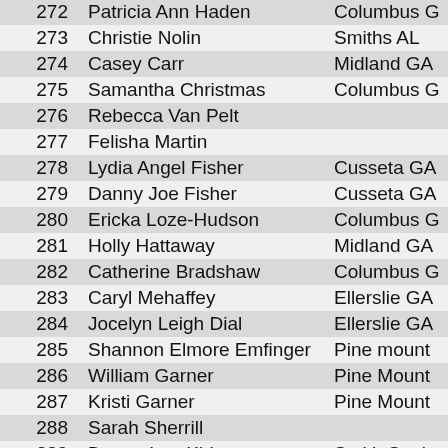| # | Name | Location |
| --- | --- | --- |
| 272 | Patricia Ann Haden | Columbus G |
| 273 | Christie Nolin | Smiths AL |
| 274 | Casey Carr | Midland GA |
| 275 | Samantha Christmas | Columbus G |
| 276 | Rebecca Van Pelt |  |
| 277 | Felisha Martin |  |
| 278 | Lydia Angel Fisher | Cusseta GA |
| 279 | Danny Joe Fisher | Cusseta GA |
| 280 | Ericka Loze-Hudson | Columbus G |
| 281 | Holly Hattaway | Midland GA |
| 282 | Catherine Bradshaw | Columbus G |
| 283 | Caryl Mehaffey | Ellerslie GA |
| 284 | Jocelyn Leigh Dial | Ellerslie GA |
| 285 | Shannon Elmore Emfinger | Pine mount |
| 286 | William Garner | Pine Mount |
| 287 | Kristi Garner | Pine Mount |
| 288 | Sarah Sherrill |  |
| 289 | Duane Lee Kirk | Smith Stati |